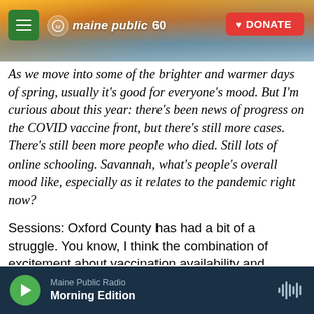[Figure (screenshot): Maine Public Radio website header with sunrise/landscape hero image, green hamburger menu button, Maine Public 60 logo, and red DONATE button]
As we move into some of the brighter and warmer days of spring, usually it's good for everyone's mood. But I'm curious about this year: there's been news of progress on the COVID vaccine front, but there's still more cases. There's still been more people who died. Still lots of online schooling. Savannah, what's people's overall mood like, especially as it relates to the pandemic right now?
Sessions: Oxford County has had a bit of a struggle. You know, I think the combination of excitement about vaccination availability and restrictions lifting and all of that kind of got ahead of itself a little bit.
Maine Public Radio | Morning Edition